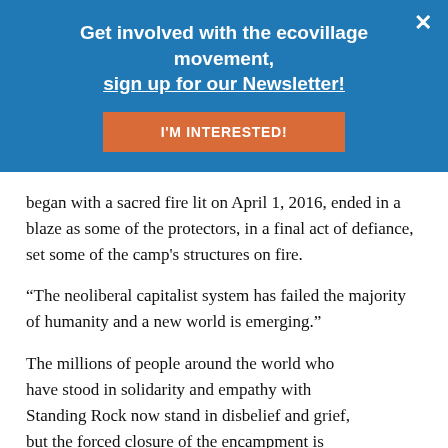Get involved with the ecovillage movement, sign up for our Newsletter!
I'M INTERESTED!
began with a sacred fire lit on April 1, 2016, ended in a blaze as some of the protectors, in a final act of defiance, set some of the camp's structures on fire.
“The neoliberal capitalist system has failed the majority of humanity and a new world is emerging.”
The millions of people around the world who have stood in solidarity and empathy with Standing Rock now stand in disbelief and grief, but the forced closure of the encampment is simply the latest chapter in a violent, 500-year-old history of